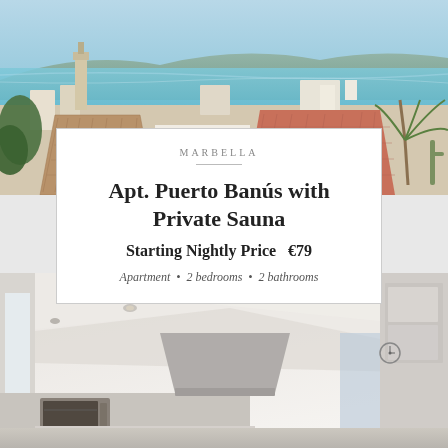[Figure (photo): Aerial view of Marbella coastline with blue sea, rooftops, palm trees, and mountains in background]
MARBELLA
Apt. Puerto Banús with Private Sauna
Starting Nightly Price   €79
Apartment  •  2 bedrooms  •  2 bathrooms
[Figure (photo): Interior photo of a modern white kitchen with ceiling lights, microwave, range hood, and open plan living area]